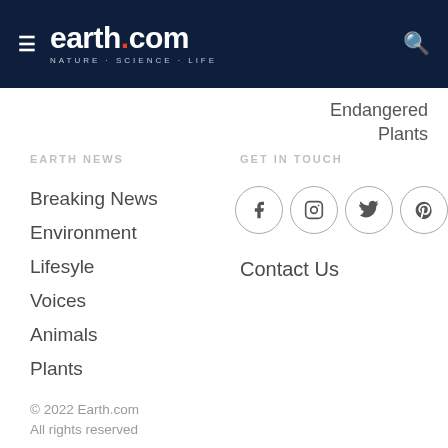earth.com NATURE · SCIENCE · LIFE
Endangered Plants
EARTH NEWS
GET IN TOUCH
Breaking News
Environment
Lifesyle
Voices
Animals
Plants
[Figure (infographic): Social media icons in circles: Facebook, Instagram, Twitter, Pinterest]
Contact Us
© 2022 Earth.com
All rights reserved